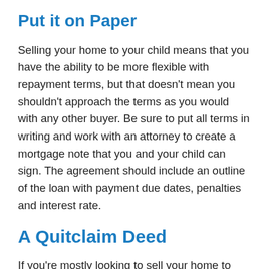Put it on Paper
Selling your home to your child means that you have the ability to be more flexible with repayment terms, but that doesn't mean you shouldn't approach the terms as you would with any other buyer. Be sure to put all terms in writing and work with an attorney to create a mortgage note that you and your child can sign. The agreement should include an outline of the loan with payment due dates, penalties and interest rate.
A Quitclaim Deed
If you're mostly looking to sell your home to